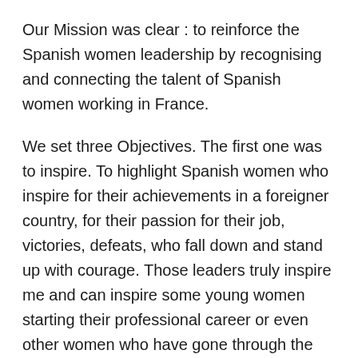Our Mission was clear : to reinforce the Spanish women leadership by recognising and connecting the talent of Spanish women working in France.
We set three Objectives. The first one was to inspire. To highlight Spanish women who inspire for their achievements in a foreigner country, for their passion for their job, victories, defeats, who fall down and stand up with courage. Those leaders truly inspire me and can inspire some young women starting their professional career or even other women who have gone through the same struggles.
1.  second one was to reflect on the role of women in